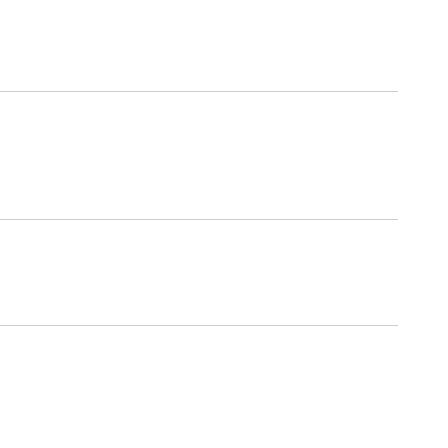I liked Tatcha on fa… chefschramm@gma…
June 24, 2014 at 11…
Unknown said...
i am a facebook fol… freebies_samples@…
June 24, 2014 at 12…
HeatherBakes said…
Liked on Facebook…
June 24, 2014 at 12…
Peyton said...
I liked them on face… -Peyton Rowlett
June 24, 2014 at 1:5…